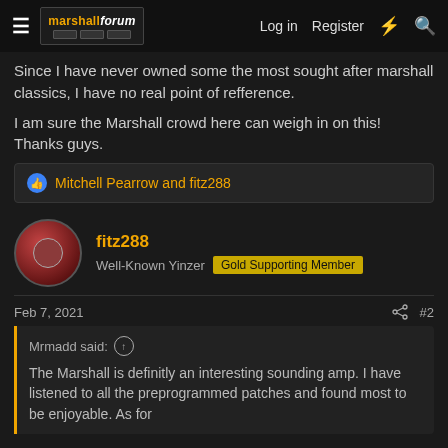marshallforum | Log in | Register
Since I have never owned some the most sought after marshall classics, I have no real point of refference.
I am sure the Marshall crowd here can weigh in on this! Thanks guys.
Mitchell Pearrow and fitz288
fitz288
Well-Known Yinzer  Gold Supporting Member
Feb 7, 2021  #2
Mrmadd said:
The Marshall is definitly an interesting sounding amp. I have listened to all the preprogrammed patches and found most to be enjoyable. As for